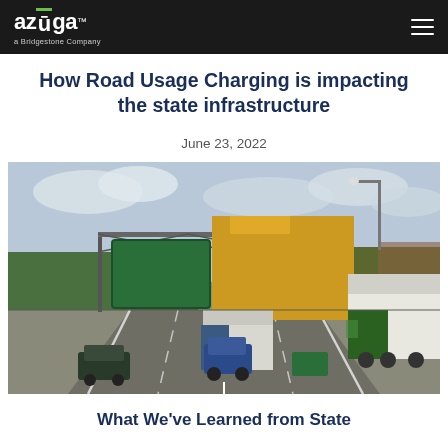azūga. a Bridgestone Company
How Road Usage Charging is impacting the state infrastructure
June 23, 2022
[Figure (photo): Highway scene with trucks and cars under a gantry sign, with a yellow square overlay obscuring part of the image. Green highway sign on the left, trees and cloudy sky in background.]
What We've Learned from State